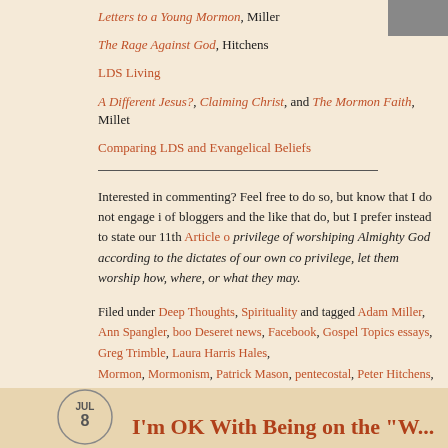Letters to a Young Mormon, Miller
The Rage Against God, Hitchens
LDS Living
A Different Jesus?, Claiming Christ, and The Mormon Faith, Millet
Comparing LDS and Evangelical Beliefs
Interested in commenting? Feel free to do so, but know that I do not engage in... Article of... privilege of worshiping Almighty God according to the dictates of our own conscience... privilege, let them worship how, where, or what they may.
Filed under Deep Thoughts, Spirituality and tagged Adam Miller, Ann Spangler, books, Deseret news, Facebook, Gospel Topics essays, Greg Trimble, Laura Harris Hales, Mormon, Mormonism, Patrick Mason, pentecostal, Peter Hitchens, priesthood authority, God Who Weeps, UMC | Leave a comment
I'm OK With Being on the "W...